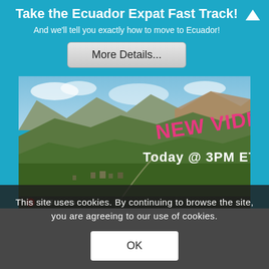Take the Ecuador Expat Fast Track!
And we'll tell you exactly how to move to Ecuador!
More Details...
[Figure (photo): Aerial view of Ecuadorian mountain landscape with green valleys and a town below. Text overlay reads 'NEW VIDEO Today @ 3PM ET']
This site uses cookies. By continuing to browse the site, you are agreeing to our use of cookies.
OK